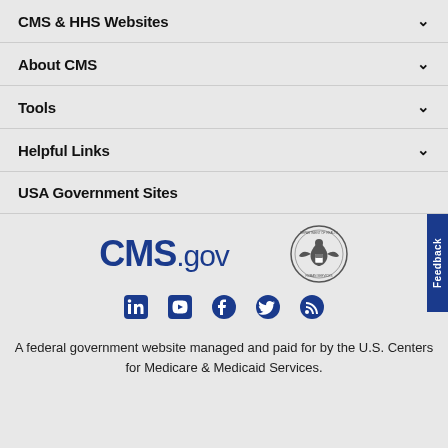CMS & HHS Websites
About CMS
Tools
Helpful Links
USA Government Sites
[Figure (logo): CMS.gov logo and HHS seal side by side, with social media icons (LinkedIn, YouTube, Facebook, Twitter, RSS) below]
A federal government website managed and paid for by the U.S. Centers for Medicare & Medicaid Services.